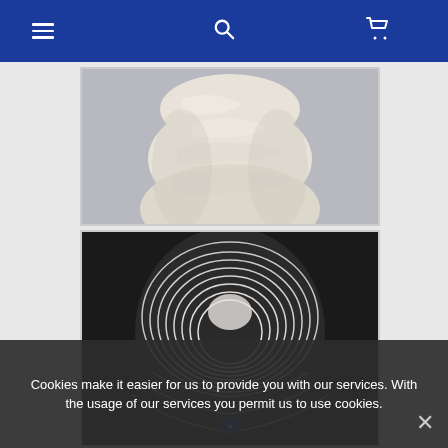Navigation bar with menu, search, and cart icons
[Figure (photo): Close-up photo of a white/cream sculptural form showing draped or folded fabric texture, light gray background]
[Figure (photo): Close-up photo of a white sculptural form with concentric flowing ridges/contour lines, dark background, small blue logo visible near bottom]
Cookies make it easier for us to provide you with our services. With the usage of our services you permit us to use cookies.